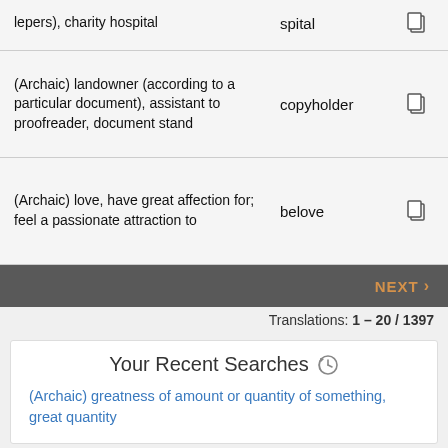lepers), charity hospital | spital
(Archaic) landowner (according to a particular document), assistant to proofreader, document stand | copyholder
(Archaic) love, have great affection for; feel a passionate attraction to | belove
NEXT >
Translations: 1 – 20 / 1397
Your Recent Searches
(Archaic) greatness of amount or quantity of something, great quantity